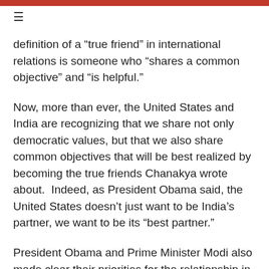definition of a "true friend" in international relations is someone who “shares a common objective” and “is helpful.”
Now, more than ever, the United States and India are recognizing that we share not only democratic values, but that we also share common objectives that will be best realized by becoming the true friends Chanakya wrote about.  Indeed, as President Obama said, the United States doesn’t just want to be India’s partner, we want to be its “best partner.”
President Obama and Prime Minister Modi also made clear their priorities for the relationship in the Declaration of Friendship they articulated during President Obama’s recent Republic Day visit.  In this Declaration, our leaders agreed